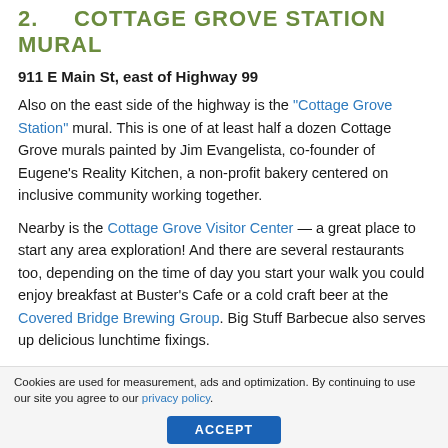2.   COTTAGE GROVE STATION  MURAL
911 E Main St, east of Highway 99
Also on the east side of the highway is the "Cottage Grove Station" mural. This is one of at least half a dozen Cottage Grove murals painted by Jim Evangelista, co-founder of Eugene's Reality Kitchen, a non-profit bakery centered on inclusive community working together.
Nearby is the Cottage Grove Visitor Center — a great place to start any area exploration! And there are several restaurants too, depending on the time of day you start your walk you could enjoy breakfast at Buster's Cafe or a cold craft beer at the Covered Bridge Brewing Group. Big Stuff Barbecue also serves up delicious lunchtime fixings.
Cookies are used for measurement, ads and optimization. By continuing to use our site you agree to our privacy policy.